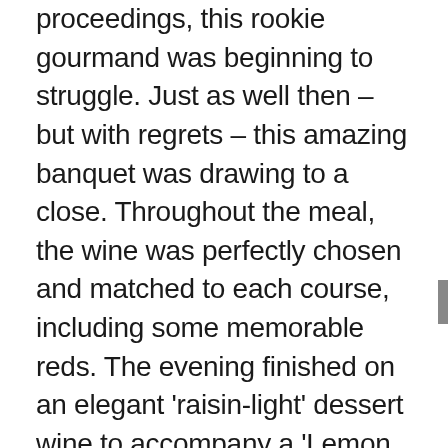proceedings, this rookie gourmand was beginning to struggle. Just as well then – but with regrets – this amazing banquet was drawing to a close. Throughout the meal, the wine was perfectly chosen and matched to each course, including some memorable reds. The evening finished on an elegant 'raisin-light' dessert wine to accompany a 'Lemon Meringue Pie' a neat dome of meringue hiding a lemon cream on shortbread.
The Thomas Cubitt did their guests